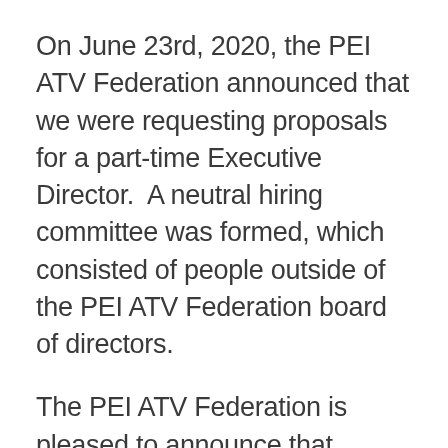On June 23rd, 2020, the PEI ATV Federation announced that we were requesting proposals for a part-time Executive Director.  A neutral hiring committee was formed, which consisted of people outside of the PEI ATV Federation board of directors.
The PEI ATV Federation is pleased to announce that, based on the recommendation of the hiring committee, and a motion carried by unanimous vote by the PEI ATV Federation Board of Directors, Peter Mellish has accepted the position.